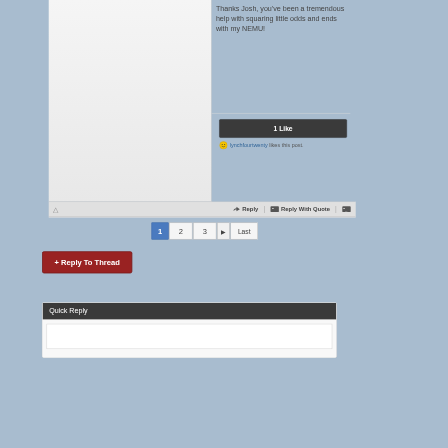Thanks Josh, you've been a tremendous help with squaring little odds and ends with my NEMU!
1 Like
lynchfourtwenty likes this post.
Reply | Reply With Quote
1  2  3  Last
+ Reply To Thread
Quick Reply